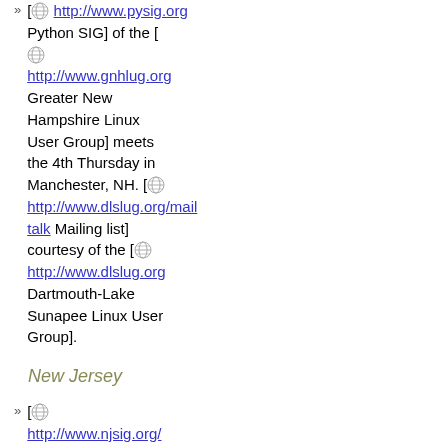[ http://www.pysig.org Python SIG] of the [ http://www.gnhlug.org Greater New Hampshire Linux User Group] meets the 4th Thursday in Manchester, NH. [ http://www.dlslug.org/mailman/listinfo/talk Mailing list] courtesy of the [ http://www.dlslug.org Dartmouth-Lake Sunapee Linux User Group].
New Jersey
[ http://www.njsig.org/ ...